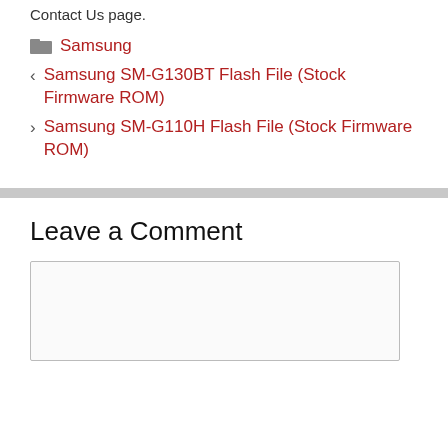Contact Us page.
Samsung
< Samsung SM-G130BT Flash File (Stock Firmware ROM)
> Samsung SM-G110H Flash File (Stock Firmware ROM)
Leave a Comment
[Figure (other): Comment text input box (empty textarea)]